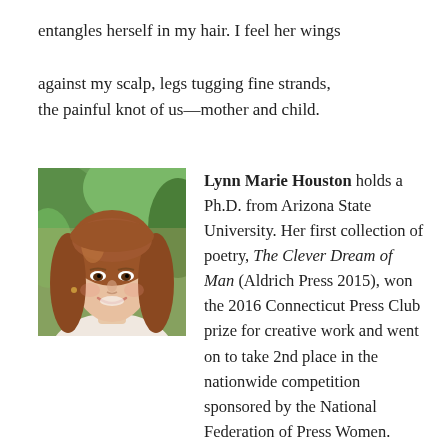entangles herself in my hair. I feel her wings

against my scalp, legs tugging fine strands,
the painful knot of us—mother and child.
[Figure (photo): Portrait photo of Lynn Marie Houston, a woman with long reddish-brown hair, smiling, outdoors with green foliage background.]
Lynn Marie Houston holds a Ph.D. from Arizona State University. Her first collection of poetry, The Clever Dream of Man (Aldrich Press 2015), won the 2016 Connecticut Press Club prize for creative work and went on to take 2nd place in the nationwide competition sponsored by the National Federation of Press Women. Poems and essays by her have appeared in journals such as Painted Bride Quarterly, Ocean State Review, Word Riot, Squalorly, and many others.